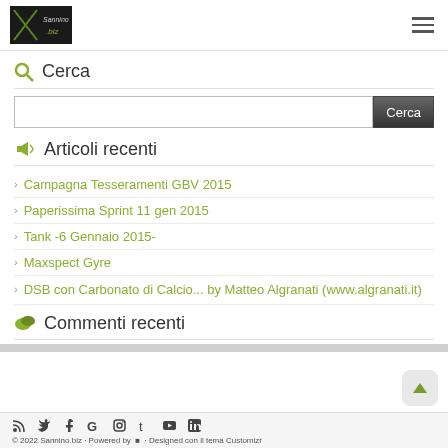Sannino.biz logo and navigation menu
Cerca
Search input box with Cerca button
Articoli recenti
Campagna Tesseramenti GBV 2015
Paperissima Sprint 11 gen 2015
Tank -6 Gennaio 2015-
Maxspect Gyre
DSB con Carbonato di Calcio... by Matteo Algranati (www.algranati.it)
Commenti recenti
© 2022 Sannino.biz · Powered by · Designed con il tema Customizr